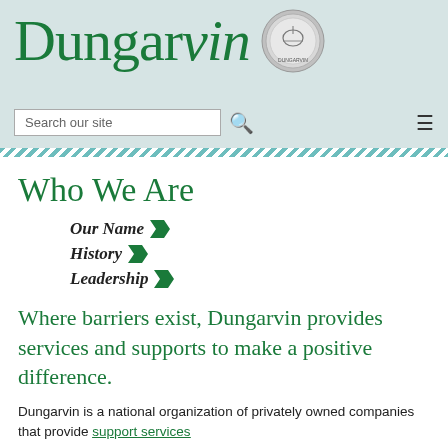[Figure (logo): Dungarvin logo in green serif font with a circular seal/badge on the right]
Search our site
Who We Are
Our Name
History
Leadership
Where barriers exist, Dungarvin provides services and supports to make a positive difference.
Dungarvin is a national organization of privately owned companies that provide support services